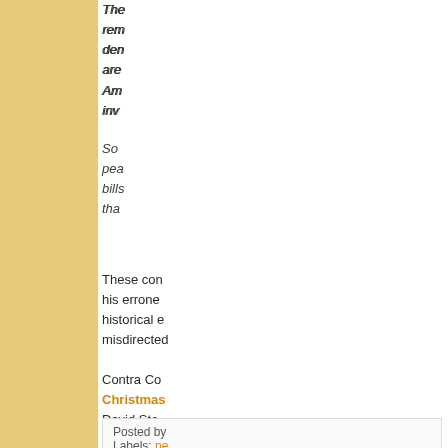The... rem... den... are... Am... inv...
So... pea... bills... tha...
These con... his errone... historical e... misdirected...
Contra Co... Christmas... David Sto...
Posted by
Labels: ne...